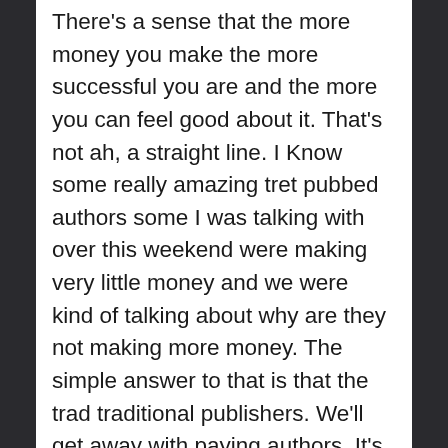There's a sense that the more money you make the more successful you are and the more you can feel good about it. That's not ah, a straight line. I Know some really amazing tret pubbed authors some I was talking with over this weekend were making very little money and we were kind of talking about why are they not making more money. The simple answer to that is that the trad traditional publishers. We'll get away with paying authors. It's really a mosquitoy morning. They'll get away with ah paying authors as little as they possibly can and um, yeah, enough sad. But you know so there is making money as one thing. Um. And so reaching new readers is kind of of a double-pronged thing because you want to reach new